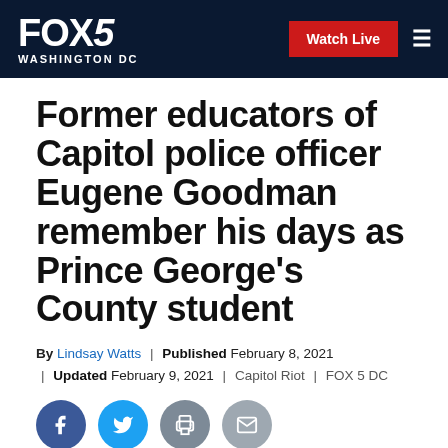FOX 5 WASHINGTON DC | Watch Live
Former educators of Capitol police officer Eugene Goodman remember his days as Prince George's County student
By Lindsay Watts | Published February 8, 2021 | Updated February 9, 2021 | Capitol Riot | FOX 5 DC
[Figure (other): Social sharing icons: Facebook, Twitter, Print, Email]